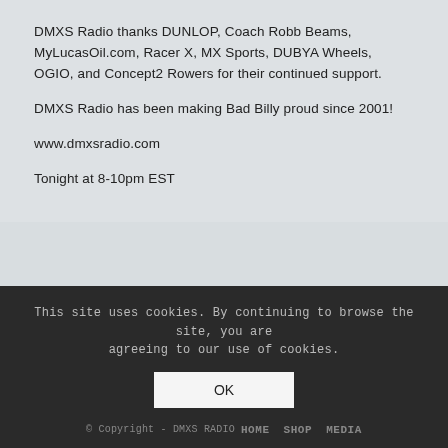DMXS Radio thanks DUNLOP, Coach Robb Beams, MyLucasOil.com, Racer X, MX Sports, DUBYA Wheels, OGIO, and Concept2 Rowers for their continued support.
DMXS Radio has been making Bad Billy proud since 2001!
www.dmxsradio.com
Tonight at 8-10pm EST
Page 1 of 2
This site uses cookies. By continuing to browse the site, you are agreeing to our use of cookies.
OK
© Copyright - DMXS RADIO | HOME | SHOP | MEDIA